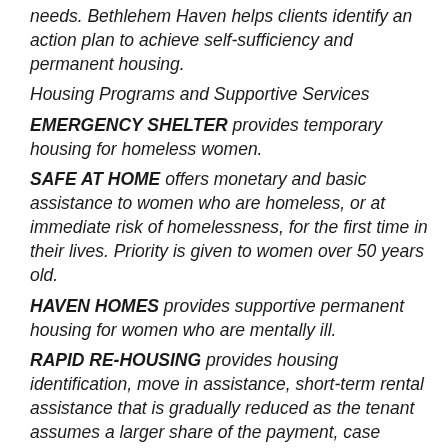needs. Bethlehem Haven helps clients identify an action plan to achieve self-sufficiency and permanent housing.
Housing Programs and Supportive Services
EMERGENCY SHELTER provides temporary housing for homeless women.
SAFE AT HOME offers monetary and basic assistance to women who are homeless, or at immediate risk of homelessness, for the first time in their lives. Priority is given to women over 50 years old.
HAVEN HOMES provides supportive permanent housing for women who are mentally ill.
RAPID RE-HOUSING provides housing identification, move in assistance, short-term rental assistance that is gradually reduced as the tenant assumes a larger share of the payment, case management and aftercare support.
MEDICAL RESPITE CARE is acute and post-acute